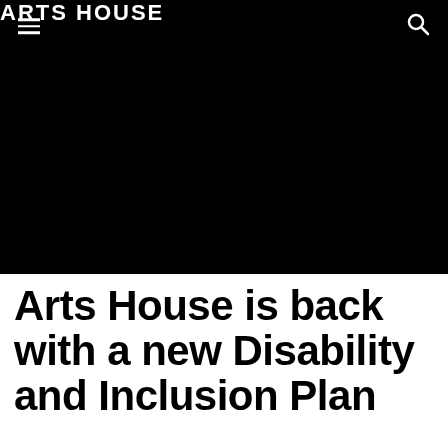ARTS HOUSE
[Figure (photo): Black background image area filling the header region below the navigation bar]
Arts House is back with a new Disability and Inclusion Plan